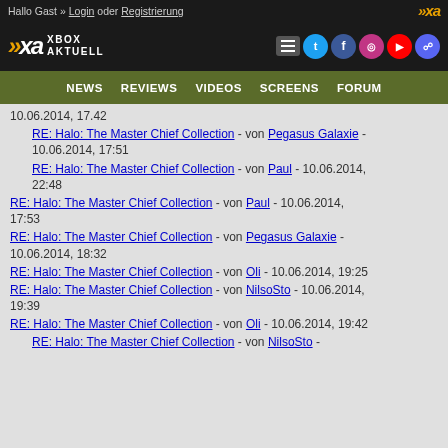Hallo Gast » Login oder Registrierung
[Figure (logo): Xbox Aktuell logo with social media icons in dark header]
NEWS  REVIEWS  VIDEOS  SCREENS  FORUM
RE: Halo: The Master Chief Collection - von Pegasus Galaxie - 10.06.2014, 17:51
RE: Halo: The Master Chief Collection - von Paul - 10.06.2014, 22:48
RE: Halo: The Master Chief Collection - von Paul - 10.06.2014, 17:53
RE: Halo: The Master Chief Collection - von Pegasus Galaxie - 10.06.2014, 18:32
RE: Halo: The Master Chief Collection - von Oli - 10.06.2014, 19:25
RE: Halo: The Master Chief Collection - von NilsoSto - 10.06.2014, 19:39
RE: Halo: The Master Chief Collection - von Oli - 10.06.2014, 19:42
RE: Halo: The Master Chief Collection - von NilsoSto -